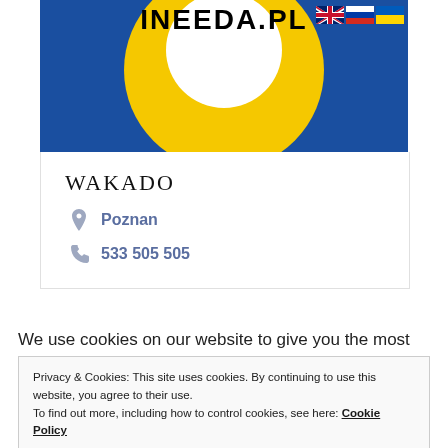[Figure (logo): INEEDA.PL logo on blue background with yellow ring and white center circle, with UK, Russian, and Ukrainian flags in top right corner]
WAKADO
Poznan
533 505 505
We use cookies on our website to give you the most relevant experience by remembering your preferences and
Privacy & Cookies: This site uses cookies. By continuing to use this website, you agree to their use.
To find out more, including how to control cookies, see here: Cookie Policy
Close and accept